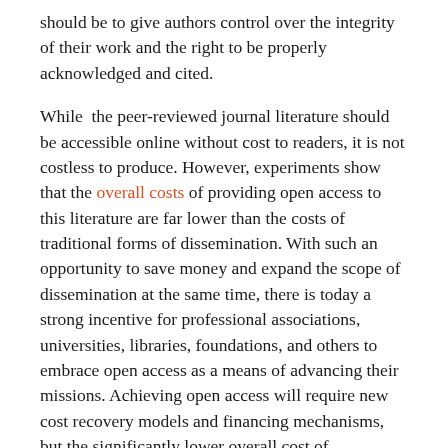should be to give authors control over the integrity of their work and the right to be properly acknowledged and cited.
While the peer-reviewed journal literature should be accessible online without cost to readers, it is not costless to produce. However, experiments show that the overall costs of providing open access to this literature are far lower than the costs of traditional forms of dissemination. With such an opportunity to save money and expand the scope of dissemination at the same time, there is today a strong incentive for professional associations, universities, libraries, foundations, and others to embrace open access as a means of advancing their missions. Achieving open access will require new cost recovery models and financing mechanisms, but the significantly lower overall cost of dissemination is a reason to be confident that the goal is attainable and not merely preferable or utopian.
To achieve open access to scholarly journal literature, we